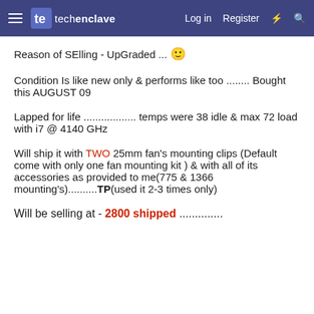techenclave  Log in  Register
Reason of SElling - UpGraded ... 🙂
Condition Is like new only & performs like too ........ Bought this AUGUST 09
Lapped for life ................. temps were 38 idle & max 72 load with i7 @ 4140 GHz
Will ship it with TWO 25mm fan's mounting clips (Default come with only one fan mounting kit ) & with all of its accessories as provided to me(775 & 1366 mounting's)............TP(used it 2-3 times only)
Will be selling at - 2800 shipped ...............